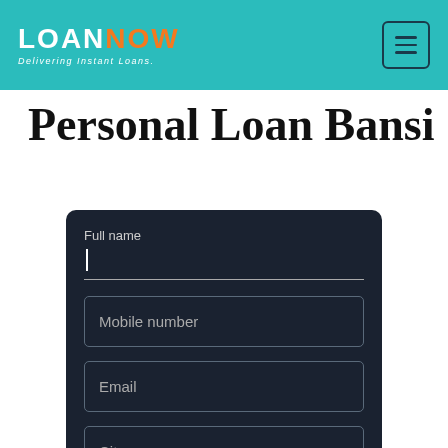LOANNOW — Delivering Instant Loans
Personal Loan Bansi
Full name
Mobile number
Email
City